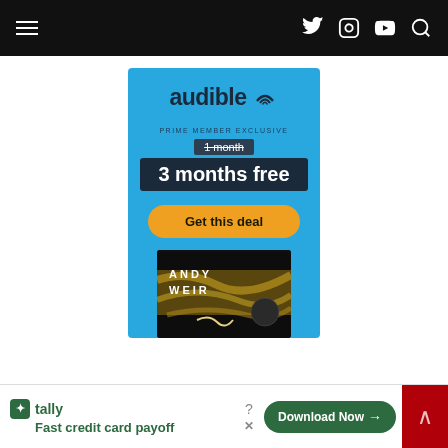Navigation bar with hamburger menu and social icons (Twitter, Instagram, YouTube, Search)
[Figure (illustration): Audible advertisement banner on blue background. Shows Audible logo, 'PRIME MEMBER EXCLUSIVE', strikethrough '1 month', '3 months free', 'Get this deal' button, and Andy Weir book cover at bottom.]
[Figure (illustration): Bottom banner advertisement for Tally app - 'Fast credit card payoff' with green Download Now button, help icon, and close icon.]